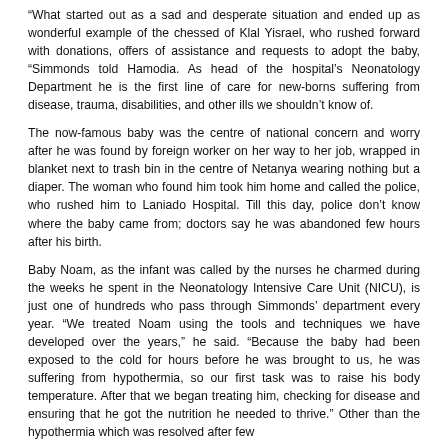"What started out as a sad and desperate situation and ended up as wonderful example of the chessed of Klal Yisrael, who rushed forward with donations, offers of assistance and requests to adopt the baby, "Simmonds told Hamodia. As head of the hospital's Neonatology Department he is the first line of care for new-borns suffering from disease, trauma, disabilities, and other ills we shouldn't know of.
The now-famous baby was the centre of national concern and worry after he was found by foreign worker on her way to her job, wrapped in blanket next to trash bin in the centre of Netanya wearing nothing but a diaper. The woman who found him took him home and called the police, who rushed him to Laniado Hospital. Till this day, police don't know where the baby came from; doctors say he was abandoned few hours after his birth.
Baby Noam, as the infant was called by the nurses he charmed during the weeks he spent in the Neonatology Intensive Care Unit (NICU), is just one of hundreds who pass through Simmonds' department every year. "We treated Noam using the tools and techniques we have developed over the years," he said. "Because the baby had been exposed to the cold for hours before he was brought to us, he was suffering from hypothermia, so our first task was to raise his body temperature. After that we began treating him, checking for disease and ensuring that he got the nutrition he needed to thrive." Other than the hypothermia which was resolved after few